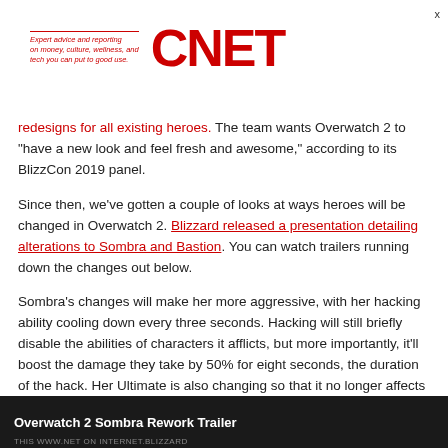Expert advice and reporting on money, culture, wellness, and tech you can put to good use. CNET
redesigns for all existing heroes. The team wants Overwatch 2 to "have a new look and feel fresh and awesome," according to its BlizzCon 2019 panel.
Since then, we've gotten a couple of looks at ways heroes will be changed in Overwatch 2. Blizzard released a presentation detailing alterations to Sombra and Bastion. You can watch trailers running down the changes out below.
Sombra's changes will make her more aggressive, with her hacking ability cooling down every three seconds. Hacking will still briefly disable the abilities of characters it afflicts, but more importantly, it'll boost the damage they take by 50% for eight seconds, the duration of the hack. Her Ultimate is also changing so that it no longer affects shields, but instead damages enemies caught within it up to 40% of their total health. They'll also be hacked, making them susceptible to even more damage.
Overwatch 2 Sombra Rework Trailer